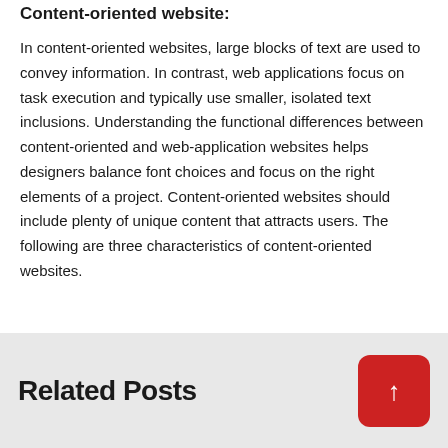Content-oriented website:
In content-oriented websites, large blocks of text are used to convey information. In contrast, web applications focus on task execution and typically use smaller, isolated text inclusions. Understanding the functional differences between content-oriented and web-application websites helps designers balance font choices and focus on the right elements of a project. Content-oriented websites should include plenty of unique content that attracts users. The following are three characteristics of content-oriented websites.
Related Posts